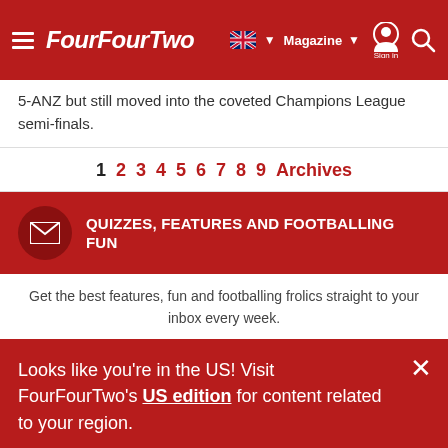FourFourTwo — Magazine, Sign in, Search
5-ANZ but still moved into the coveted Champions League semi-finals.
1 2 3 4 5 6 7 8 9 Archives
QUIZZES, FEATURES AND FOOTBALLING FUN
Get the best features, fun and footballing frolics straight to your inbox every week.
Looks like you're in the US! Visit FourFourTwo's US edition for content related to your region.